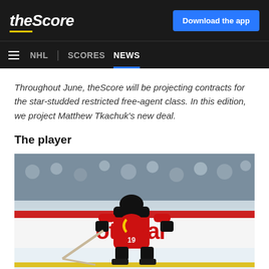theScore | Download the app
NHL | SCORES | NEWS
Throughout June, theScore will be projecting contracts for the star-studded restricted free-agent class. In this edition, we project Matthew Tkachuk's new deal.
The player
[Figure (photo): Matthew Tkachuk in a Calgary Flames red jersey skating on ice, with a Scotiabank rink board advertisement visible in the background]